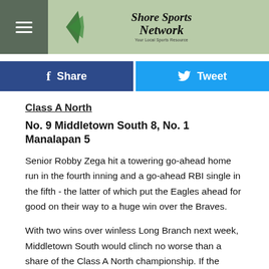Shore Sports Network
[Figure (logo): Shore Sports Network logo with green background and stylized arrow, hamburger menu icon on left]
[Figure (infographic): Share and Tweet buttons row - Facebook Share button (dark blue) and Twitter Tweet button (light blue)]
Class A North
No. 9 Middletown South 8, No. 1 Manalapan 5
Senior Robby Zega hit a towering go-ahead home run in the fourth inning and a go-ahead RBI single in the fifth - the latter of which put the Eagles ahead for good on their way to a huge win over the Braves.
With two wins over winless Long Branch next week, Middletown South would clinch no worse than a share of the Class A North championship. If the Eagles win those two and Manalapan loses one of its final three district...